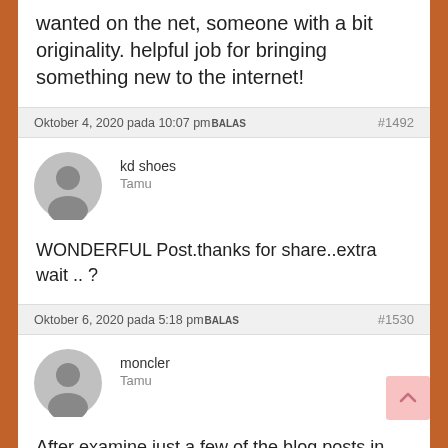wanted on the net, someone with a bit originality. helpful job for bringing something new to the internet!
Oktober 4, 2020 pada 10:07 pmBALAS #1492
kd shoes
Tamu
WONDERFUL Post.thanks for share..extra wait .. ?
Oktober 6, 2020 pada 5:18 pmBALAS #1530
moncler
Tamu
After examine just a few of the blog posts in your web site now, and I truly like your manner of blogging. I